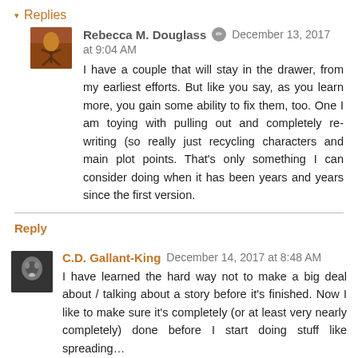▾ Replies
Rebecca M. Douglass  December 13, 2017 at 9:04 AM
I have a couple that will stay in the drawer, from my earliest efforts. But like you say, as you learn more, you gain some ability to fix them, too. One I am toying with pulling out and completely re-writing (so really just recycling characters and main plot points. That's only something I can consider doing when it has been years and years since the first version.
Reply
C.D. Gallant-King  December 14, 2017 at 8:48 AM
I have learned the hard way not to make a big deal about / talking about a story before it's finished. Now I like to make sure it's completely (or at least very nearly completely) done before I start doing stuff like spreading…